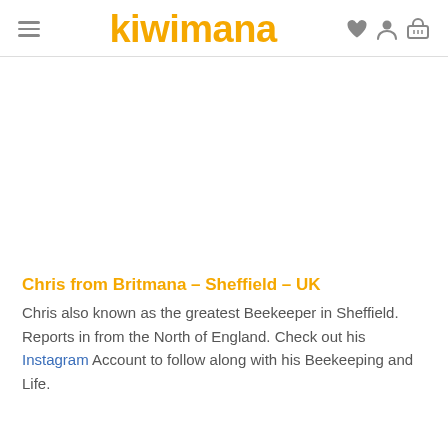kiwimana
Chris from Britmana – Sheffield – UK
Chris also known as the greatest Beekeeper in Sheffield. Reports in from the North of England. Check out his Instagram Account to follow along with his Beekeeping and Life.